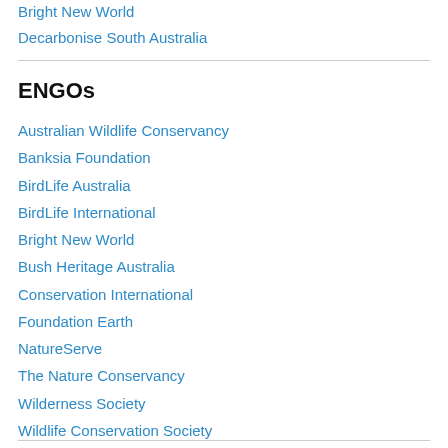Bright New World
Decarbonise South Australia
ENGOs
Australian Wildlife Conservancy
Banksia Foundation
BirdLife Australia
BirdLife International
Bright New World
Bush Heritage Australia
Conservation International
Foundation Earth
NatureServe
The Nature Conservancy
Wilderness Society
Wildlife Conservation Society
World Wide Fund for Nature